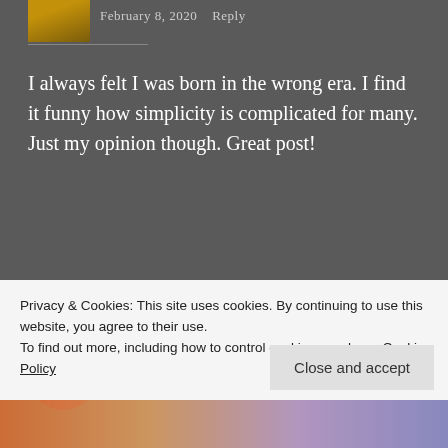February 8, 2020   Reply
I always felt I was born in the wrong era. I find it funny how simplicity is complicated for many. Just my opinion though. Great post!
★ Liked by 3 people
A.S.
February 8, 2020   Reply
Privacy & Cookies: This site uses cookies. By continuing to use this website, you agree to their use.
To find out more, including how to control cookies, see here: Cookie Policy
Close and accept